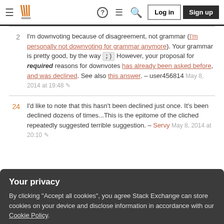Stack Exchange navigation bar with Log in and Sign up buttons
2 I'm downvoting because of disagreement, not grammar (I'm personally not downvoting for grammar anymore). Your grammar is pretty good, by the way ;) However, your proposal for required reasons for downvotes has already been asked before, and was declined. See also this answer. – user456814 May 8, 2014 at 19:48
24 I'd like to note that this hasn't been declined just once. It's been declined dozens of times...This is the epitome of the cliched repeatedly suggested terrible suggestion. – Servy May 8, 2014 at 20:10
Your privacy
By clicking "Accept all cookies", you agree Stack Exchange can store cookies on your device and disclose information in accordance with our Cookie Policy.
Accept all cookies  Customize settings
At least in a court of law one is allowed to confront